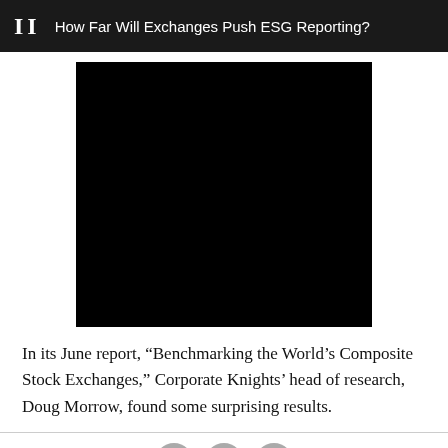II  How Far Will Exchanges Push ESG Reporting?
[Figure (photo): A large black rectangular image, likely a video thumbnail or photograph that is blacked out.]
In its June report, “Benchmarking the World’s Composite Stock Exchanges,” Corporate Knights’ head of research, Doug Morrow, found some surprising results.